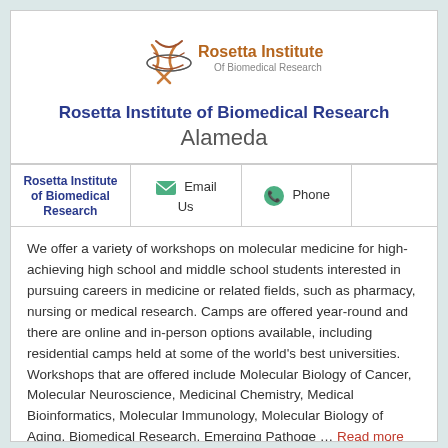[Figure (logo): Rosetta Institute of Biomedical Research logo with DNA helix graphic and text]
Rosetta Institute of Biomedical Research
Alameda
|  | Email Us | Phone |  |
| --- | --- | --- | --- |
| Rosetta Institute of Biomedical Research | Email Us | Phone |  |
We offer a variety of workshops on molecular medicine for high-achieving high school and middle school students interested in pursuing careers in medicine or related fields, such as pharmacy, nursing or medical research. Camps are offered year-round and there are online and in-person options available, including residential camps held at some of the world's best universities. Workshops that are offered include Molecular Biology of Cancer, Molecular Neuroscience, Medicinal Chemistry, Medical Bioinformatics, Molecular Immunology, Molecular Biology of Aging, Biomedical Research, Emerging Pathoge … Read more